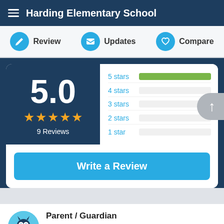Harding Elementary School
Review | Updates | Compare
[Figure (bar-chart): Rating Distribution]
5.0
★★★★★
9 Reviews
Write a Review
Parent / Guardian
★★★★★  October 09, 2011